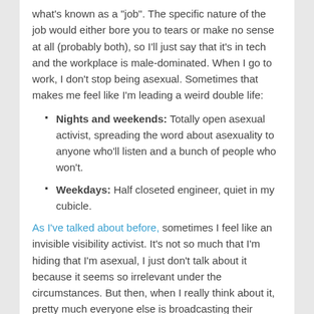what’s known as a “job”.  The specific nature of the job would either bore you to tears or make no sense at all (probably both), so I’ll just say that it’s in tech and the workplace is male-dominated.  When I go to work, I don’t stop being asexual.  Sometimes that makes me feel like I’m leading a weird double life:
Nights and weekends:  Totally open asexual activist, spreading the word about asexuality to anyone who’ll listen and a bunch of people who won’t.
Weekdays: Half closeted engineer, quiet in my cubicle.
As I’ve talked about before, sometimes I feel like an invisible visibility activist.  It’s not so much that I’m hiding that I’m asexual, I just don’t talk about it because it seems so irrelevant under the circumstances.  But then, when I really think about it, pretty much everyone else is broadcasting their sexuality in a number of ways.  So why should I keep mine hidden?